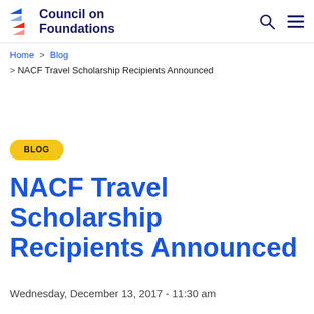Council on Foundations
Home > Blog > NACF Travel Scholarship Recipients Announced
BLOG
NACF Travel Scholarship Recipients Announced
Wednesday, December 13, 2017 - 11:30 am